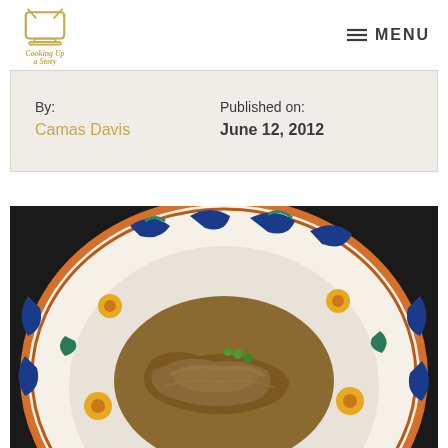Cooking Up a Story — MENU
By:
Camas Davis
Published on:
June 12, 2012
[Figure (photo): A decorative blue and white plate with an orange rim border featuring floral and scroll patterns, holding a braised or stewed meat dish with green peas in a brown sauce.]